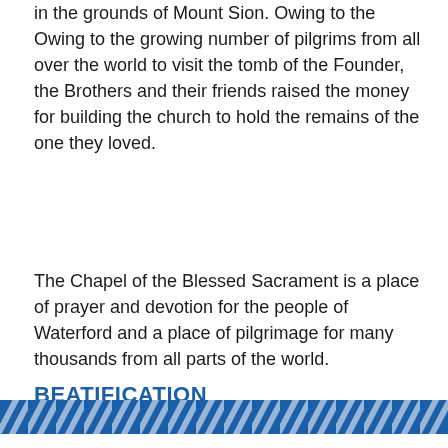in the grounds of Mount Sion. Owing to the Owing to the growing number of pilgrims from all over the world to visit the tomb of the Founder, the Brothers and their friends raised the money for building the church to hold the remains of the one they loved.
The Chapel of the Blessed Sacrament is a place of prayer and devotion for the people of Waterford and a place of pilgrimage for many thousands from all parts of the world.
BEATIFICATION
[Figure (photo): Broken image placeholder]
Edmund Rice was Beatified in Rome on 6th October, 1996.
[Figure (other): Blue diagonal striped footer banner]